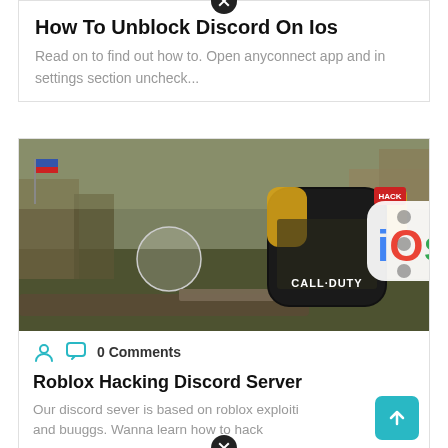How To Unblock Discord On Ios
Read on to find out how to. Open anyconnect app and in settings section uncheck...
[Figure (screenshot): Call of Duty mobile game screenshot with iOS logo overlay]
0 Comments
Roblox Hacking Discord Server
Our discord sever is based on roblox exploiti and buuggs. Wanna learn how to hack...